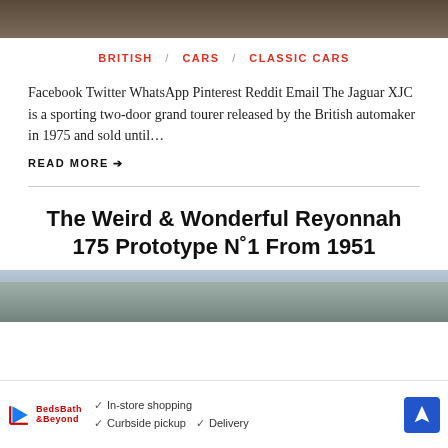[Figure (photo): Top portion of a brown/dark colored car image, cropped at top of frame]
BRITISH / CARS / CLASSIC CARS
Facebook Twitter WhatsApp Pinterest Reddit Email The Jaguar XJC is a sporting two-door grand tourer released by the British automaker in 1975 and sold until…
READ MORE →
The Weird & Wonderful Reyonnah 175 Prototype N˚1 From 1951
[Figure (photo): Outdoor winter scene with bare trees and sky, bottom portion of image visible]
[Figure (other): Advertisement banner: In-store shopping, Curbside pickup, Delivery with navigation arrow icon]